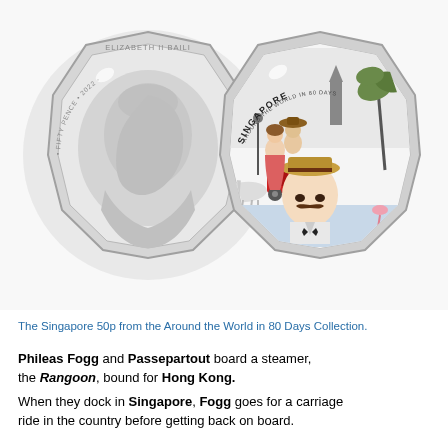[Figure (photo): Two 50p coins side by side. Left coin shows the obverse with Queen Elizabeth II portrait, text 'ELIZABETH II BAILI', 'FIFTY PENCE 2022' and Guernsey inscription. Right coin shows the reverse with colourised illustration of Phileas Fogg and Passepartout in Singapore, with palm trees, a tower, horses and a carriage, text 'AROUND THE WORLD IN 80 DAYS' and 'SINGAPORE' along the top edge.]
The Singapore 50p from the Around the World in 80 Days Collection.
Phileas Fogg and Passepartout board a steamer, the Rangoon, bound for Hong Kong.
When they dock in Singapore, Fogg goes for a carriage ride in the country before getting back on board.